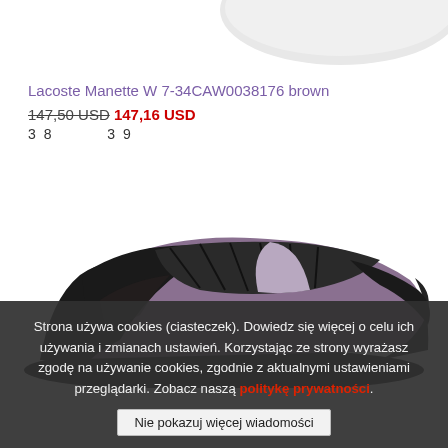[Figure (photo): Top portion of a Lacoste Manette W brown shoe, partially cropped at top of image]
Lacoste Manette W 7-34CAW0038176 brown
147,50 USD 147,16 USD
38    39
[Figure (photo): Close-up photo of a Lacoste Manette W brown/purple sneaker with black laces on white background]
Strona używa cookies (ciasteczek). Dowiedz się więcej o celu ich używania i zmianach ustawień. Korzystając ze strony wyrażasz zgodę na używanie cookies, zgodnie z aktualnymi ustawieniami przeglądarki. Zobacz naszą politykę prywatności.
Nie pokazuj więcej wiadomości